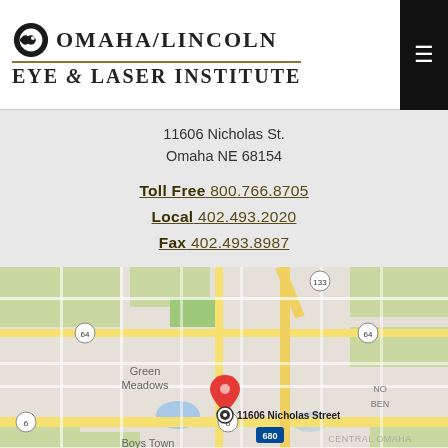[Figure (logo): Omaha/Lincoln Eye & Laser Institute logo with eye icon]
11606 Nicholas St.
Omaha NE 68154
Toll Free 800.766.8705
Local 402.493.2020
Fax 402.493.8987
[Figure (map): Google map showing location of 11606 Nicholas Street in Omaha, NE with a red pin marker. Map shows surrounding streets, Green Meadows, Boys Town, West Omaha, Central Omaha areas, and highway 680.]